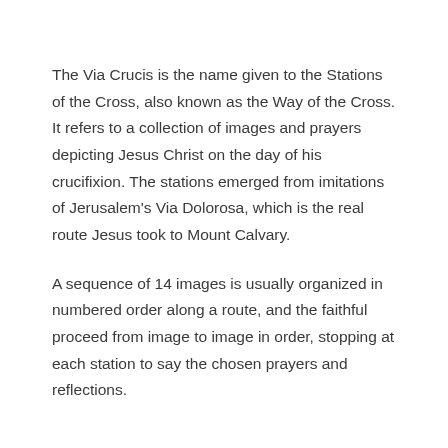The Via Crucis is the name given to the Stations of the Cross, also known as the Way of the Cross. It refers to a collection of images and prayers depicting Jesus Christ on the day of his crucifixion. The stations emerged from imitations of Jerusalem's Via Dolorosa, which is the real route Jesus took to Mount Calvary.
A sequence of 14 images is usually organized in numbered order along a route, and the faithful proceed from image to image in order, stopping at each station to say the chosen prayers and reflections.